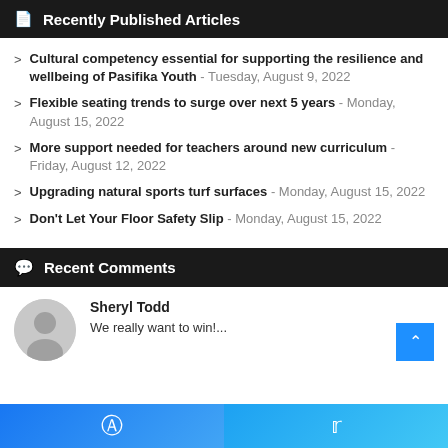Recently Published Articles
Cultural competency essential for supporting the resilience and wellbeing of Pasifika Youth - Tuesday, August 9, 2022
Flexible seating trends to surge over next 5 years - Monday, August 15, 2022
More support needed for teachers around new curriculum - Friday, August 12, 2022
Upgrading natural sports turf surfaces - Monday, August 15, 2022
Don't Let Your Floor Safety Slip - Monday, August 15, 2022
Recent Comments
Sheryl Todd - We really want to win!...